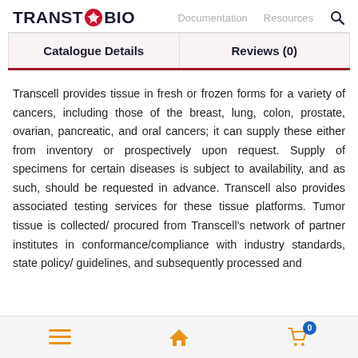TRANSTOXBIO  Documentation  Resources
Catalogue Details | Reviews (0)
Transcell provides tissue in fresh or frozen forms for a variety of cancers, including those of the breast, lung, colon, prostate, ovarian, pancreatic, and oral cancers; it can supply these either from inventory or prospectively upon request. Supply of specimens for certain diseases is subject to availability, and as such, should be requested in advance. Transcell also provides associated testing services for these tissue platforms. Tumor tissue is collected/ procured from Transcell's network of partner institutes in conformance/compliance with industry standards, state policy/ guidelines, and subsequently processed and
☰  🏠  🛒 0